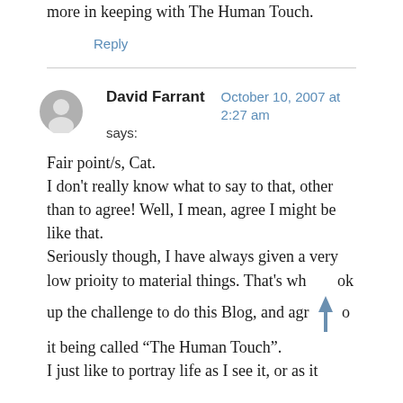more in keeping with The Human Touch.
Reply
David Farrant says:
October 10, 2007 at 2:27 am
Fair point/s, Cat.
I don't really know what to say to that, other than to agree! Well, I mean, agree I might be like that.
Seriously though, I have always given a very low prioity to material things. That's wh  ok up the challenge to do this Blog, and agr  o it being called “The Human Touch”.
I just like to portray life as I see it, or as it